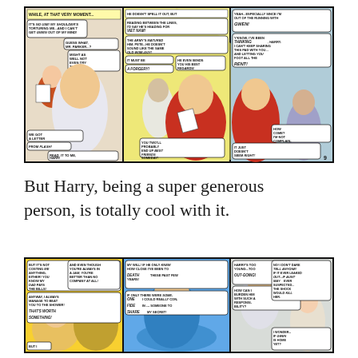[Figure (illustration): Comic book page strip (top): Three panels from a Spider-Man comic. Panel 1: Two figures, one holding a letter, speech bubbles read 'While, at that very moment...' caption; 'It's no use! My shoulder's torturing me...and I can't get Gwen out of my mind!'; 'Guess what, Mr. Parker..?'; 'Might as well not even try to study tonight!'; 'We got a letter from Flash!'; 'Read it to me, Harr!'. Panel 2: Man reading letter, speech bubbles: 'He doesn't spell it out, but reading between the lines, I'd say he's heading for Viet Nam!'; 'The Army's matured him, Pete...he doesn't sound like the same old wise-guy!'; 'It must be a forgery!'; 'He even sends you his best regards!'; 'You two'll probably end up best friends someday!'. Panel 3: Two men talking, speech bubbles: 'Yeah...especially since I'm out of the running with Gwen!'; 'Y'know, I've been thinking, Harry. I can't keep sharing this pad with you...and letting you foot all the rent!'; 'How come? I'm not complaining!'; 'It just doesn't seem right!'. Page number 9.]
But Harry, being a super generous person, is totally cool with it.
[Figure (illustration): Comic book page strip (bottom, partial): Three panels from a Spider-Man comic. Panel 1 (yellow background): Two figures, speech bubbles: 'But it's not costing me anything, either! You know my dad pays the bills!'; 'And even though you're always in a jam, you're better than no company at all!'; 'Anyway, I always manage to beat you to the shower! That's worth something!'; 'But I'. Panel 2 (blue background): A figure in contemplation, speech bubbles: 'My will! If he only knew how close I've been to death these past few years!'; 'If only there were someone I could really confide in...someone to share my secret!'. Panel 3 (grey/green background): Two figures, speech bubbles: 'Harry's too young...too out-going!'; 'How can I burden him with such a responsibility?'; 'No! I don't dare tell anyone! If it ever leaked out...if Aunt May ever suspected...the shock would kill her.'; 'I wonder...if Gwen is home yet?']